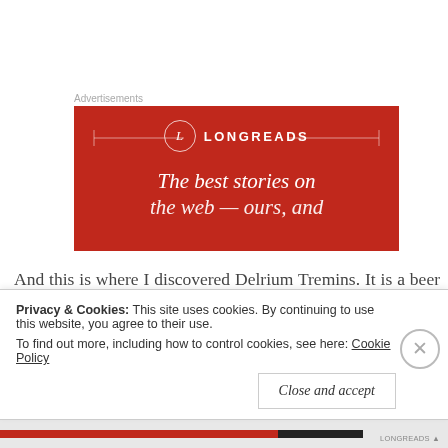Advertisements
[Figure (illustration): Longreads advertisement banner on red background with logo circle containing 'L', brand name 'LONGREADS', decorative bracket lines, and tagline text 'The best stories on the web — ours, and']
And this is where I discovered Delrium Tremins. It is a beer bar, and is well known for being a beer bar, particularly in the French speaking world. If you have been to craft beer bars you
Privacy & Cookies: This site uses cookies. By continuing to use this website, you agree to their use.
To find out more, including how to control cookies, see here: Cookie Policy
Close and accept